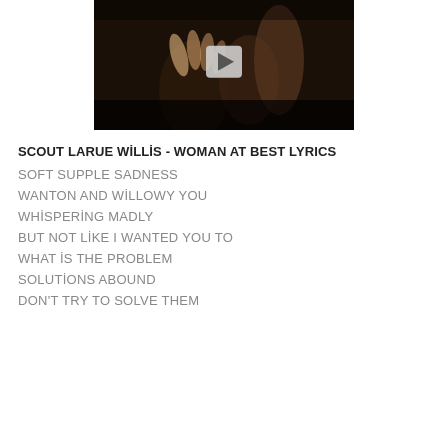[Figure (screenshot): Video thumbnail showing hands in dark lighting with a play button overlay]
SCOUT LARUE WİLLİS - WOMAN AT BEST LYRICS
SOFT SUPPLE SADNESS
WANTON AND WİLLOWY YOU
WHİSPERİNG MADLY
BUT NOT LİKE I WANTED YOU TO
WHAT İS THE PROBLEM
SOLUTİONS ABOUND
DON'T TRY TO SOLVE THEM